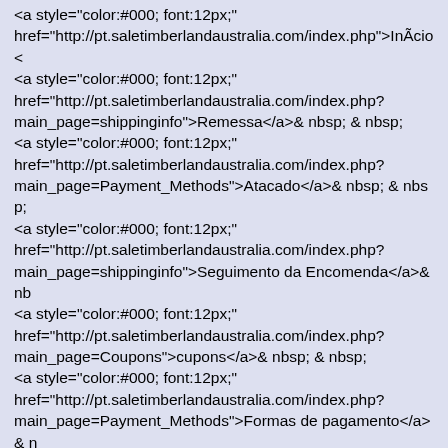<a style="color:#000; font:12px;" href="http://pt.saletimberlandaustralia.com/index.php">InÃ­cio< <a style="color:#000; font:12px;" href="http://pt.saletimberlandaustralia.com/index.php?main_page=shippinginfo">Remessa</a>& nbsp; & nbsp; <a style="color:#000; font:12px;" href="http://pt.saletimberlandaustralia.com/index.php?main_page=Payment_Methods">Atacado</a>& nbsp; & nbsp; <a style="color:#000; font:12px;" href="http://pt.saletimberlandaustralia.com/index.php?main_page=shippinginfo">Seguimento da Encomenda</a>& nb <a style="color:#000; font:12px;" href="http://pt.saletimberlandaustralia.com/index.php?main_page=Coupons">cupons</a>& nbsp; & nbsp; <a style="color:#000; font:12px;" href="http://pt.saletimberlandaustralia.com/index.php?main_page=Payment_Methods">Formas de pagamento</a>& n <a style="color:#000; font:12px;" href="http://pt.saletimberlandaustralia.com/index.php?main_page=contact_us">entre em contato conosco</a>& nbsp;

</div>

<div style=" margin-bottom:10px; margin-top:10px; width:100% align:center;">